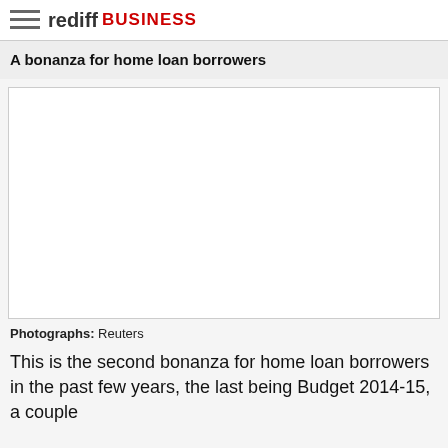rediff BUSINESS
A bonanza for home loan borrowers
[Figure (photo): Empty/placeholder image area with white background and gray border]
Photographs: Reuters
This is the second bonanza for home loan borrowers in the past few years, the last being Budget 2014-15, a couple...